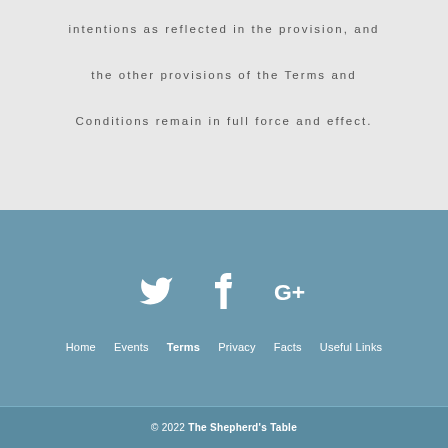intentions as reflected in the provision, and the other provisions of the Terms and Conditions remain in full force and effect.
[Figure (other): Social media icons: Twitter bird, Facebook f, Google+ G+ in white on blue-grey background]
Home  Events  Terms  Privacy  Facts  Useful Links
© 2022 The Shepherd's Table